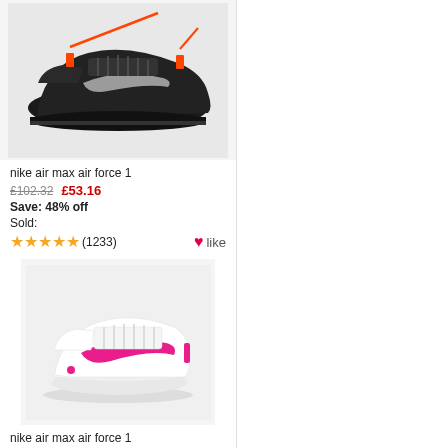[Figure (photo): Black Nike Air Force 1 Off-White sneaker with orange lace tags and 'AIR' text on sole, displayed on white background]
nike air max air force 1
£102.32   £53.16
Save: 48% off
Sold:
★★★★★ (1233)   ♥like
[Figure (photo): White Nike Air Force 1 sneaker with pink/magenta swoosh logo, displayed on light grey background]
nike air max air force 1
£99.62   £51.81
Save: 48% off
Sold: